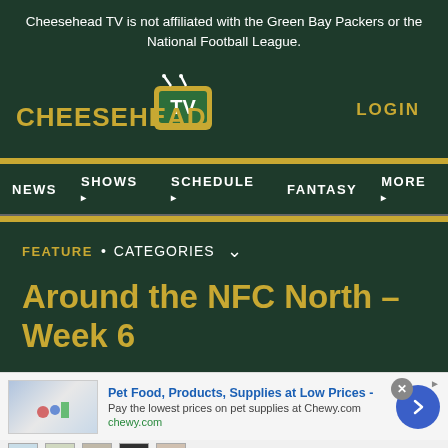Cheesehead TV is not affiliated with the Green Bay Packers or the National Football League.
[Figure (logo): Cheesehead TV logo — yellow stylized text CHEESEHEAD with TV in a green rectangle with antenna]
LOGIN
NEWS   SHOWS ▾   SCHEDULE ▾   FANTASY   MORE ▾
FEATURE · CATEGORIES ∨
Around the NFC North – Week 6
[Figure (screenshot): Advertisement banner: Pet Food, Products, Supplies at Low Prices - Pay the lowest prices on pet supplies at Chewy.com — chewy.com]